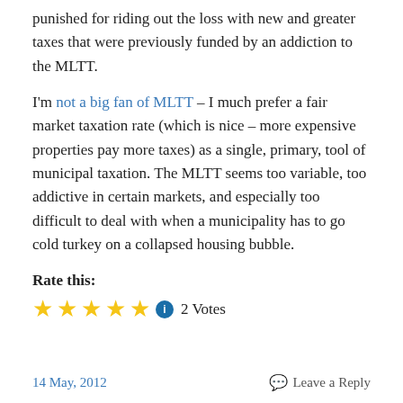punished for riding out the loss with new and greater taxes that were previously funded by an addiction to the MLTT.
I'm not a big fan of MLTT – I much prefer a fair market taxation rate (which is nice – more expensive properties pay more taxes) as a single, primary, tool of municipal taxation. The MLTT seems too variable, too addictive in certain markets, and especially too difficult to deal with when a municipality has to go cold turkey on a collapsed housing bubble.
Rate this:
[Figure (other): Five gold star rating icons followed by a blue info icon and '2 Votes' text]
14 May, 2012    Leave a Reply